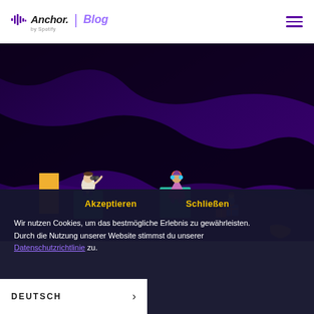Anchor | Blog by Spotify
[Figure (illustration): Dark purple and black wavy abstract background with illustrated characters: a person sitting on a teal platform looking through binoculars, a person with colorful headphones sitting on a teal cube, and a small figure with a gift box next to a yellow door. Anchor Blog hero image.]
Akzeptieren     Schließen
Wir nutzen Cookies, um das bestmögliche Erlebnis zu gewährleisten. Durch die Nutzung unserer Website stimmst du unserer Datenschutzrichtlinie zu.
DEUTSCH